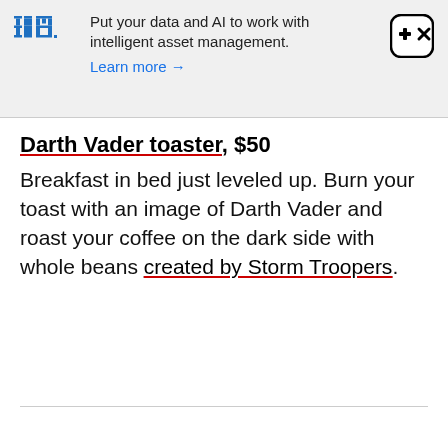[Figure (infographic): IBM advertisement banner with IBM logo on left, text 'Put your data and AI to work with intelligent asset management. Learn more →' in center, and a game controller icon on the right.]
Darth Vader toaster, $50
Breakfast in bed just leveled up. Burn your toast with an image of Darth Vader and roast your coffee on the dark side with whole beans created by Storm Troopers.